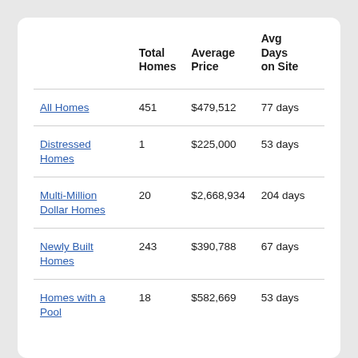|  | Total Homes | Average Price | Avg Days on Site |
| --- | --- | --- | --- |
| All Homes | 451 | $479,512 | 77 days |
| Distressed Homes | 1 | $225,000 | 53 days |
| Multi-Million Dollar Homes | 20 | $2,668,934 | 204 days |
| Newly Built Homes | 243 | $390,788 | 67 days |
| Homes with a Pool | 18 | $582,669 | 53 days |